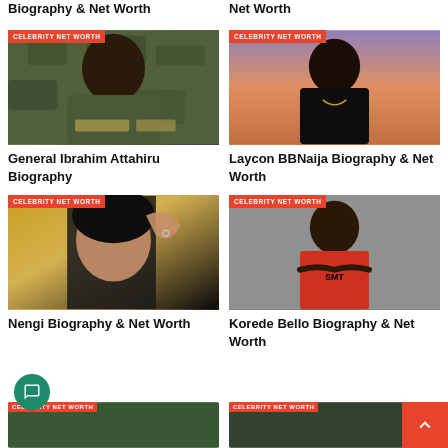Biography & Net Worth
Net Worth
[Figure (photo): Man in military camouflage uniform with badge reading ATTAHIRU and NIGERIA]
General Ibrahim Attahiru Biography
[Figure (photo): Young man smiling against a sunset sky background, wearing black turtleneck]
Laycon BBNaija Biography & Net Worth
[Figure (photo): Woman with dark hair against yellow background, partial face view]
Nengi Biography & Net Worth
[Figure (photo): Young man in red sleeveless top with SMT logo, arms crossed, grey background]
Korede Bello Biography & Net Worth
[Figure (photo): Partial bottom card image left - green/nature scene]
[Figure (photo): Partial bottom card image right - green/nature scene]